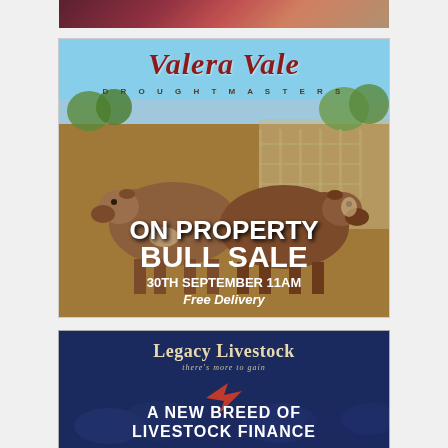[Figure (photo): Partial top strip showing a person in red clothing, cropped at top of page]
[Figure (photo): Valera Vale Droughtmasters advertisement showing two Droughtmaster bulls standing on dirt ground with trees and yards in background. Text overlaid: 'Valera Vale DROUGHTMASTERS ON PROPERTY BULL SALE 30TH SEPTEMBER 11AM Free Delivery']
[Figure (photo): Legacy Livestock advertisement with dark navy blue background, faint cattle imagery. Shows Legacy Livestock logo, tagline 'there's more to gain', an arrow logo, and text 'A NEW BREED OF LIVESTOCK FINANCE']